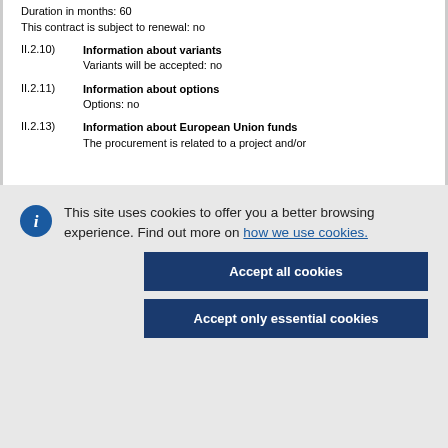Duration in months: 60
This contract is subject to renewal: no
II.2.10) Information about variants
Variants will be accepted: no
II.2.11) Information about options
Options: no
II.2.13) Information about European Union funds
The procurement is related to a project and/or
This site uses cookies to offer you a better browsing experience. Find out more on how we use cookies.
Accept all cookies
Accept only essential cookies